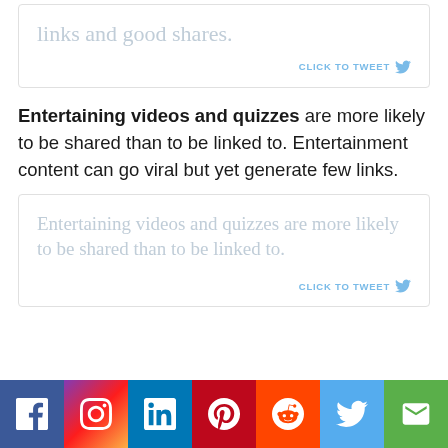[Figure (other): Tweet box (top, partial) with light gray quote text 'links and good shares.' and 'CLICK TO TWEET' link with Twitter bird icon]
Entertaining videos and quizzes are more likely to be shared than to be linked to. Entertainment content can go viral but yet generate few links.
[Figure (other): Tweet box with light gray quote text 'Entertaining videos and quizzes are more likely to be shared than to be linked to.' and 'CLICK TO TWEET' link with Twitter bird icon]
[Figure (infographic): Social media sharing bar with icons for Facebook, Instagram, LinkedIn, Pinterest, Reddit, Twitter, and Email]